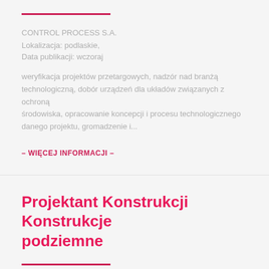CONTROL PROCESS S.A.
Lokalizacja: podlaskie,
Data publikacji: wczoraj
weryfikacja projektów przetargowych, nadzór nad branżą technologiczną, dobór urządzeń dla układów związanych z ochroną środowiska, opracowanie koncepcji i procesu technologicznego danego projektu, gromadzenie i...
– WIĘCEJ INFORMACJI –
Projektant Konstrukcji Konstrukcje podziemne